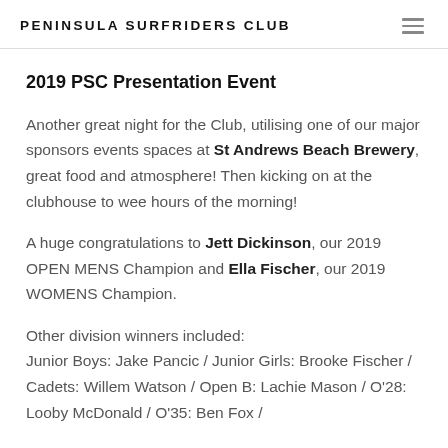PENINSULA SURFRIDERS CLUB
2019 PSC Presentation Event
Another great night for the Club, utilising one of our major sponsors events spaces at St Andrews Beach Brewery, great food and atmosphere! Then kicking on at the clubhouse to wee hours of the morning!
A huge congratulations to Jett Dickinson, our 2019 OPEN MENS Champion and Ella Fischer, our 2019 WOMENS Champion.
Other division winners included:
Junior Boys: Jake Pancic / Junior Girls: Brooke Fischer / Cadets: Willem Watson / Open B: Lachie Mason / O'28: Looby McDonald / O'35: Ben Fox /